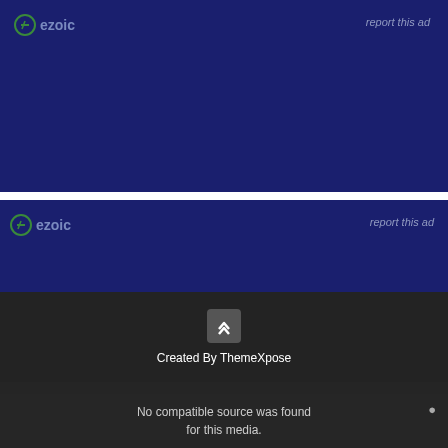[Figure (other): Dark navy blue ad block with ezoic logo on left and 'report this ad' link on right (top ad unit)]
[Figure (other): Dark navy blue ad block with ezoic logo on left and 'report this ad' link on right (second ad unit)]
Created By ThemeXpose
No compatible source was found for this media.